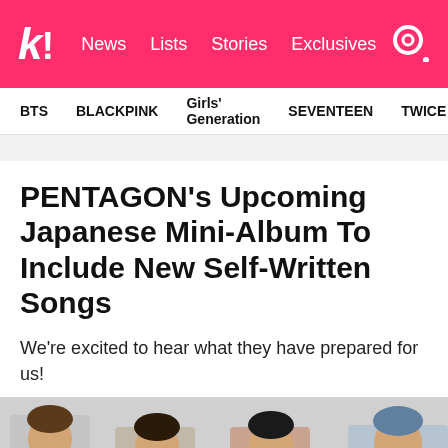k! News Lists Stories Exclusives
BTS  BLACKPINK  Girls' Generation  SEVENTEEN  TWICE
PENTAGON's Upcoming Japanese Mini-Album To Include New Self-Written Songs
We're excited to hear what they have prepared for us!
[Figure (photo): Group photo of four PENTAGON members against a light gray background. Left to right: member in striped shirt, member in tan jacket with striped shirt, member in colorful striped top, member in light denim jacket with suspenders.]